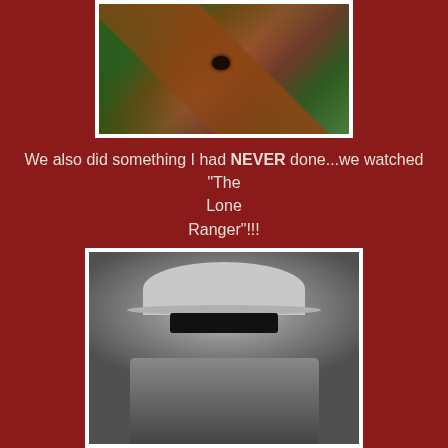[Figure (photo): Close-up photo of a horse's face and eye, brown horse with bridle, green grass background]
We also did something I had NEVER done...we watched "The
Lone
Ranger"!!!
[Figure (photo): Black and white photo of the Lone Ranger character wearing a white cowboy hat and black mask]